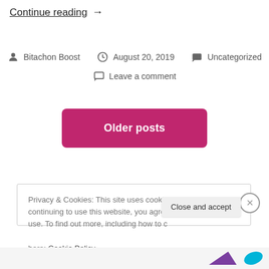Continue reading →
Bitachon Boost  August 20, 2019  Uncategorized  Leave a comment
Older posts
Privacy & Cookies: This site uses cookies. By continuing to use this website, you agree to their use. To find out more, including how to control cookies, see here: Cookie Policy
Close and accept